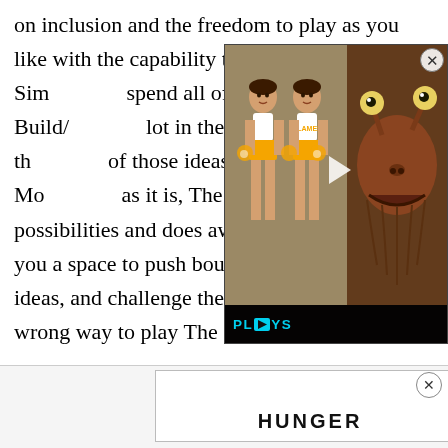on inclusion and the freedom to play as you like with the capability to romance any Sim spend all of your time in Build/ lot in the past twenty years, the of those ideas has evolved. Mo as it is, The Sims opens up new possibilities and does away with limits. It gives you a space to push boundaries, explore new ideas, and challenge the status quo. There is no wrong way to play The Sims!"
[Figure (screenshot): Embedded video player overlay showing video game characters: two cheerleader figures on left side, and a grotesque monster/creature face on right side. Bottom bar shows 'PLAYS' branding logo in cyan. Close button (X) in top right corner.]
[Figure (screenshot): Advertisement banner at bottom of page. White box with border partially visible, showing the beginning of the word 'HUNGER' in bold capital letters. Close button (X) visible to the right of the ad box.]